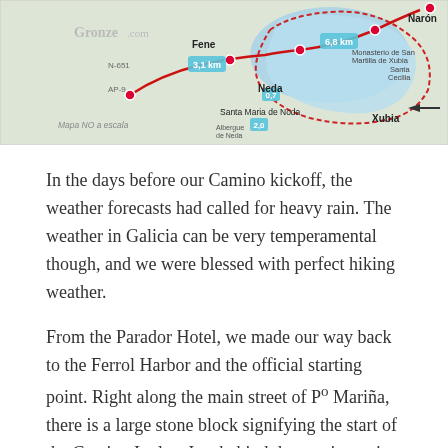[Figure (map): Gronze.com route map showing Camino Inglés path through Fene, Neda, Santa Maria de Neda, Xubia, and Narón with distances (3.1 km, 6.8 km, 0.7, 2.0) marked. Label reads 'Mapa NO a escala'.]
In the days before our Camino kickoff, the weather forecasts had called for heavy rain. The weather in Galicia can be very temperamental though, and we were blessed with perfect hiking weather.
From the Parador Hotel, we made our way back to the Ferrol Harbor and the official starting point. Right along the main street of Pº Mariña, there is a large stone block signifying the start of the Camino Ingles. Just behind the starting point is a large archway and narrow road that began our journey towards Santiago.
[Figure (photo): Street photo showing archways and buildings along a narrow road, likely the starting point of Camino Inglés in Ferrol.]